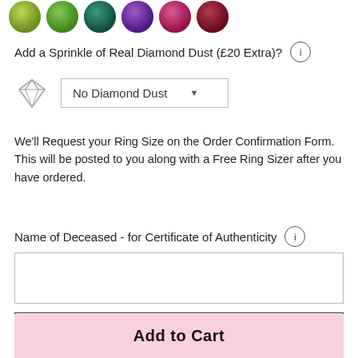[Figure (illustration): Row of colorful decorative circular gemstone/ball options in various colors: yellow-green, green, teal/dark green, purple, pink/magenta, and red/burgundy]
Add a Sprinkle of Real Diamond Dust (£20 Extra)?
[Figure (illustration): Diamond icon SVG with a dropdown selector showing 'No Diamond Dust']
We'll Request your Ring Size on the Order Confirmation Form. This will be posted to you along with a Free Ring Sizer after you have ordered.
Name of Deceased - for Certificate of Authenticity
Engraving Options (£39 Extra)
Add to Cart